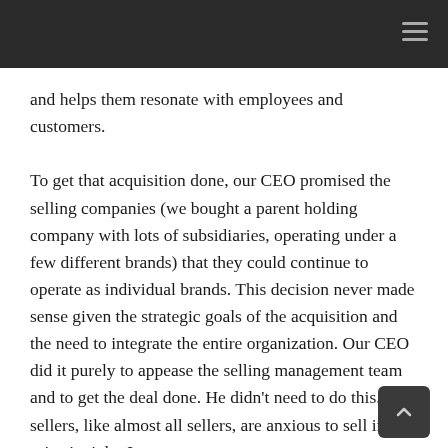and helps them resonate with employees and customers.

To get that acquisition done, our CEO promised the selling companies (we bought a parent holding company with lots of subsidiaries, operating under a few different brands) that they could continue to operate as individual brands. This decision never made sense given the strategic goals of the acquisition and the need to integrate the entire organization. Our CEO did it purely to appease the selling management team and to get the deal done. He didn't need to do this. The sellers, like almost all sellers, are anxious to sell if the price is right. Issues